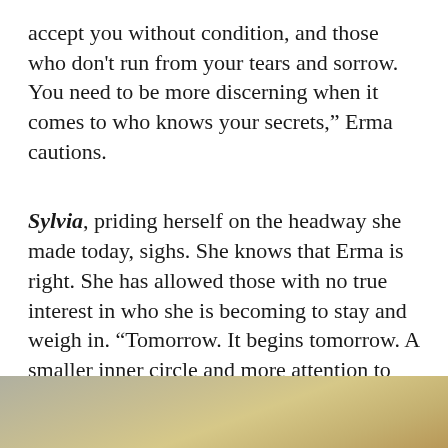accept you without condition, and those who don't run from your tears and sorrow. You need to be more discerning when it comes to who knows your secrets,” Erma cautions.
Sylvia, priding herself on the headway she made today, sighs. She knows that Erma is right. She has allowed those with no true interest in who she is becoming to stay and weigh in. “Tomorrow. It begins tomorrow. A smaller inner circle and more attention to the person who deserves my attention the most. Me!”
***************
[Figure (photo): Bottom portion of page showing a cropped image with beige/tan and grey tones, appears to be an interior or person photo, only partially visible at bottom of page.]